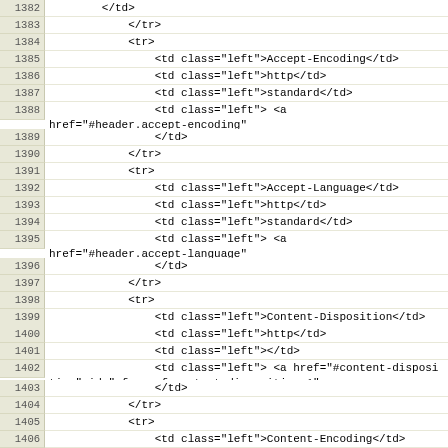Code listing lines 1382-1406 showing HTML/XML source code with line numbers
| line | code |
| --- | --- |
| 1382 |         </td> |
| 1383 |             </tr> |
| 1384 |             <tr> |
| 1385 |                 <td class="left">Accept-Encoding</td> |
| 1386 |                 <td class="left">http</td> |
| 1387 |                 <td class="left">standard</td> |
| 1388 |                 <td class="left"> <a href="#header.accept-encoding" id="rfc.xref.header.accept-encoding.3" title="Accept-Encoding">Section&nbsp;5.3</a> |
| 1389 |                 </td> |
| 1390 |             </tr> |
| 1391 |             <tr> |
| 1392 |                 <td class="left">Accept-Language</td> |
| 1393 |                 <td class="left">http</td> |
| 1394 |                 <td class="left">standard</td> |
| 1395 |                 <td class="left"> <a href="#header.accept-language" id="rfc.xref.header.accept-language.2" title="Accept-Language">Section&nbsp;5.4</a> |
| 1396 |                 </td> |
| 1397 |             </tr> |
| 1398 |             <tr> |
| 1399 |                 <td class="left">Content-Disposition</td> |
| 1400 |                 <td class="left">http</td> |
| 1401 |                 <td class="left"></td> |
| 1402 |                 <td class="left"> <a href="#content-disposition" id="rfc.xref.content-disposition.1" title="Content-Disposition">Appendix&nbsp;B.1</a> |
| 1403 |                 </td> |
| 1404 |             </tr> |
| 1405 |             <tr> |
| 1406 |                 <td class="left">Content-Encoding</td> |